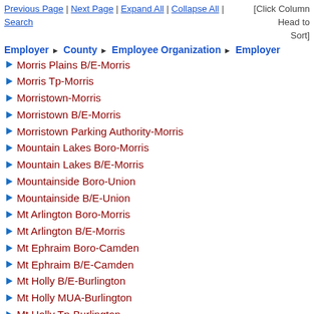Previous Page | Next Page | Expand All | Collapse All | Search    [Click Column Head to Sort]
| Employer | County | Employee Organization | Employer |
| --- | --- | --- | --- |
Morris Plains B/E-Morris
Morris Tp-Morris
Morristown-Morris
Morristown B/E-Morris
Morristown Parking Authority-Morris
Mountain Lakes Boro-Morris
Mountain Lakes B/E-Morris
Mountainside Boro-Union
Mountainside B/E-Union
Mt Arlington Boro-Morris
Mt Arlington B/E-Morris
Mt Ephraim Boro-Camden
Mt Ephraim B/E-Camden
Mt Holly B/E-Burlington
Mt Holly MUA-Burlington
Mt Holly Tp-Burlington
Mt Laurel Bd/Fire Commrs Dist 1-Burlington
Mt Laurel B/E-Burlington